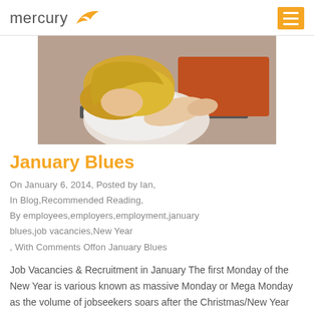mercury
[Figure (photo): Person with blonde hair slumped face-down on a laptop keyboard, wearing a white shirt, suggesting exhaustion or stress.]
January Blues
On January 6, 2014, Posted by Ian, In Blog,Recommended Reading, By employees,employers,employment,january blues,job vacancies,New Year , With Comments Offon January Blues
Job Vacancies & Recruitment in January The first Monday of the New Year is various known as massive Monday or Mega Monday as the volume of jobseekers soars after the Christmas/New Year break. In print and packaging we have seen a